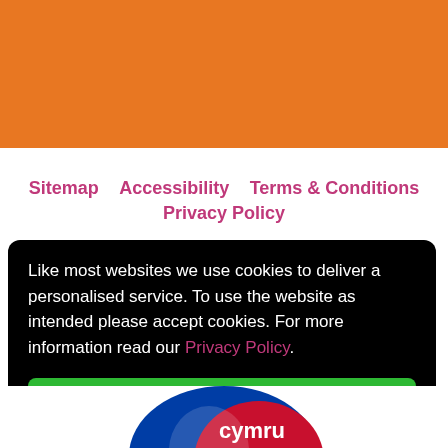[Figure (other): Orange header bar at top of page]
Sitemap   Accessibility   Terms & Conditions
Privacy Policy
Like most websites we use cookies to deliver a personalised service. To use the website as intended please accept cookies. For more information read our Privacy Policy.
Accept Cookies
[Figure (logo): Cymru / Wales logo partially visible at bottom of page]